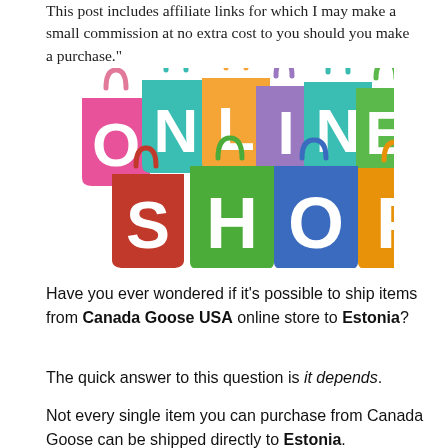This post includes affiliate links for which I may make a small commission at no extra cost to you should you make a purchase."
[Figure (illustration): Colorful shopping bags with bold white letters spelling ONLINE SHOP]
Have you ever wondered if it’s possible to ship items from Canada Goose USA online store to Estonia?
The quick answer to this question is it depends.
Not every single item you can purchase from Canada Goose can be shipped directly to Estonia.